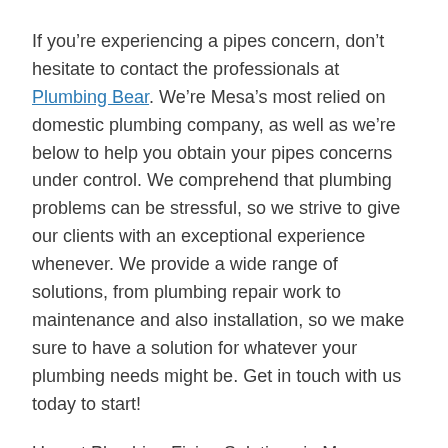If you're experiencing a pipes concern, don't hesitate to contact the professionals at Plumbing Bear. We're Mesa's most relied on domestic plumbing company, as well as we're below to help you obtain your pipes concerns under control. We comprehend that plumbing problems can be stressful, so we strive to give our clients with an exceptional experience whenever. We provide a wide range of solutions, from plumbing repair work to maintenance and also installation, so we make sure to have a solution for whatever your plumbing needs might be. Get in touch with us today to start!
Urgent Plumbing Fixing Solutions in Mesa Location